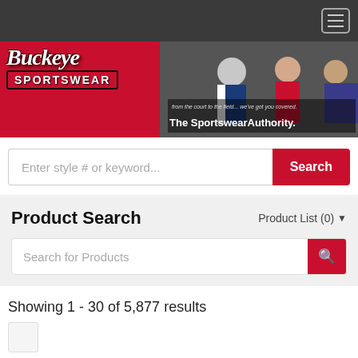[Figure (screenshot): Dark navigation bar with hamburger menu icon (three horizontal lines) in top right corner]
[Figure (photo): Buckeye Sportswear banner with logo on red background, athletes playing tennis and soccer, tagline 'from the court to the field... we've got you covered. The Sportswear Authority.']
Enter style # or keyword...
Search
Product Search
Product List (0)
Search for Products
Showing 1 - 30 of 5,877 results